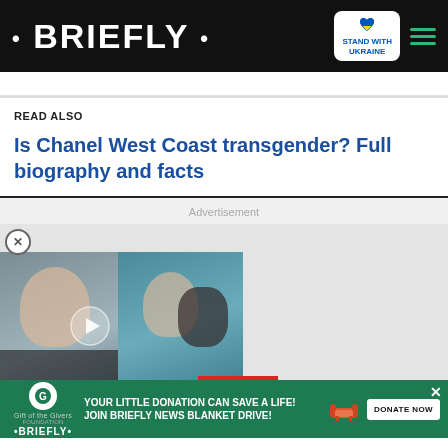• BRIEFLY •
STAND WITH UKRAINE
READ ALSO
Is Chanel West Coast transgender? Full biography and facts
Advertisement
[Figure (screenshot): Video thumbnail showing two people, with play button overlay and text 'DID HE DATE A MINOR?'. A red scroll-down button is visible below.]
YOUR LITTLE DONATION CAN SAVE A LIFE! JOIN BRIEFLY NEWS BLANKET DRIVE!
DONATE NOW